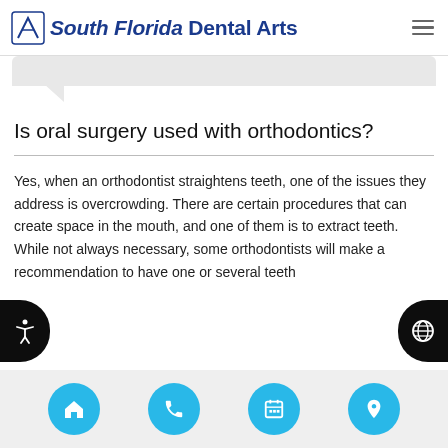South Florida Dental Arts
[Figure (other): Speech bubble / chat bubble graphic in light grey]
Is oral surgery used with orthodontics?
Yes, when an orthodontist straightens teeth, one of the issues they address is overcrowding. There are certain procedures that can create space in the mouth, and one of them is to extract teeth. While not always necessary, some orthodontists will make a recommendation to have one or several teeth